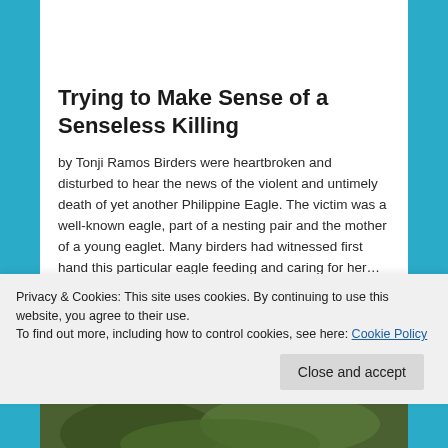[Figure (photo): Partial view of a bird (eagle) in flight against green foliage background, cropped at top]
Trying to Make Sense of a Senseless Killing
by Tonji Ramos Birders were heartbroken and disturbed to hear the news of the violent and untimely death of yet another Philippine Eagle. The victim was a well-known eagle, part of a nesting pair and the mother of a young eaglet. Many birders had witnessed first hand this particular eagle feeding and caring for her…
Privacy & Cookies: This site uses cookies. By continuing to use this website, you agree to their use.
To find out more, including how to control cookies, see here: Cookie Policy
[Figure (photo): Partial view of a bird perched among green foliage, cropped at bottom of page]